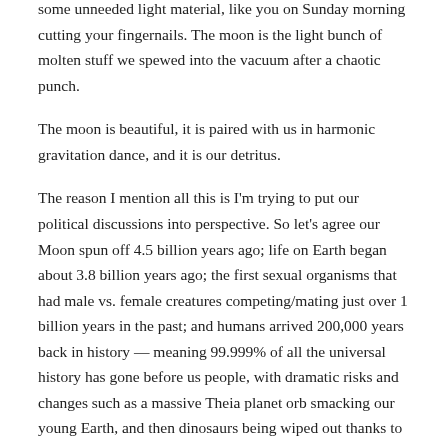some unneeded light material, like you on Sunday morning cutting your fingernails. The moon is the light bunch of molten stuff we spewed into the vacuum after a chaotic punch.
The moon is beautiful, it is paired with us in harmonic gravitation dance, and it is our detritus.
The reason I mention all this is I'm trying to put our political discussions into perspective. So let's agree our Moon spun off 4.5 billion years ago; life on Earth began about 3.8 billion years ago; the first sexual organisms that had male vs. female creatures competing/mating just over 1 billion years in the past; and humans arrived 200,000 years back in history — meaning 99.999% of all the universal history has gone before us people, with dramatic risks and changes such as a massive Theia planet orb smacking our young Earth, and then dinosaurs being wiped out thanks to an asteroid, and then somehow we smart mammals arrived. And so people popped up in Africa.